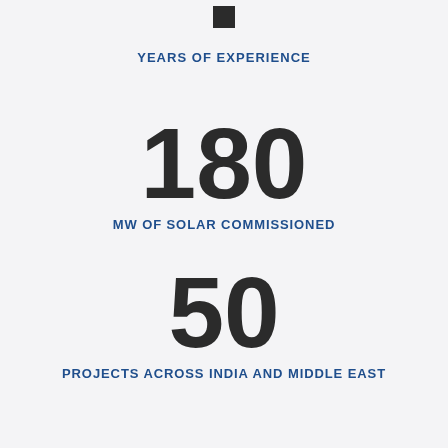YEARS OF EXPERIENCE
180
MW OF SOLAR COMMISSIONED
50
PROJECTS ACROSS INDIA AND MIDDLE EAST